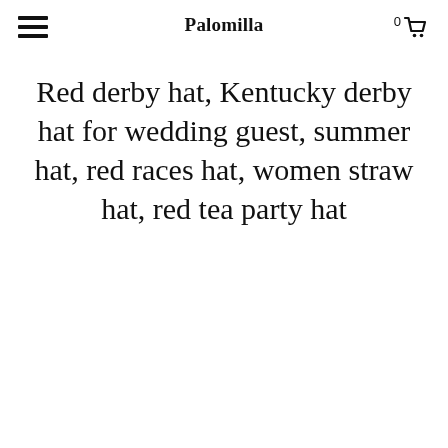Palomilla
Red derby hat, Kentucky derby hat for wedding guest, summer hat, red races hat, women straw hat, red tea party hat